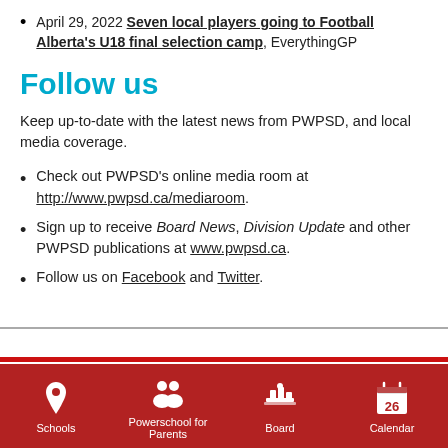April 29, 2022 Seven local players going to Football Alberta's U18 final selection camp, EverythingGP
Follow us
Keep up-to-date with the latest news from PWPSD, and local media coverage.
Check out PWPSD's online media room at http://www.pwpsd.ca/mediaroom.
Sign up to receive Board News, Division Update and other PWPSD publications at www.pwpsd.ca.
Follow us on Facebook and Twitter.
Schools | Powerschool for Parents | Board | Calendar